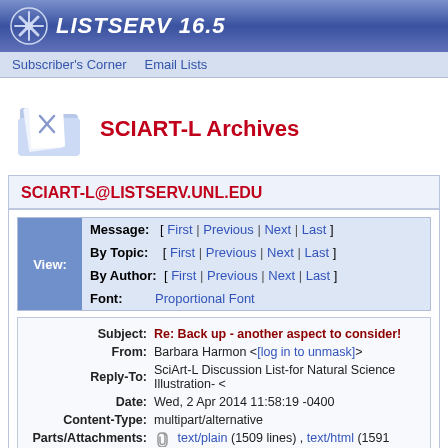LISTSERV 16.5
Subscriber's Corner  Email Lists
SCIART-L Archives
SCIART-L@LISTSERV.UNL.EDU
| View: | Field | Navigation |
| --- | --- | --- |
|  | Message: | [ First | Previous | Next | Last ] |
|  | By Topic: | [ First | Previous | Next | Last ] |
|  | By Author: | [ First | Previous | Next | Last ] |
|  | Font: | Proportional Font |
| Field | Value |
| --- | --- |
| Subject: | Re: Back up - another aspect to consider! |
| From: | Barbara Harmon <[log in to unmask]> |
| Reply-To: | SciArt-L Discussion List-for Natural Science Illustration- < |
| Date: | Wed, 2 Apr 2014 11:58:19 -0400 |
| Content-Type: | multipart/alternative |
| Parts/Attachments: | text/plain (1509 lines) , text/html (1591 lines) |